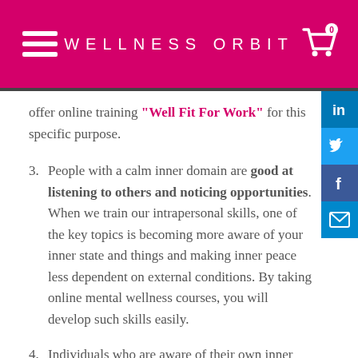WELLNESS ORBIT
offer online training "Well Fit For Work" for this specific purpose.
3. People with a calm inner domain are good at listening to others and noticing opportunities. When we train our intrapersonal skills, one of the key topics is becoming more aware of your inner state and things and making inner peace less dependent on external conditions. By taking online mental wellness courses, you will develop such skills easily.
4. Individuals who are aware of their own inner processes also notice better what other people go through when they face practical difficulties. This improves interpersonal relations within your team as well as relationships with your customers. Here you